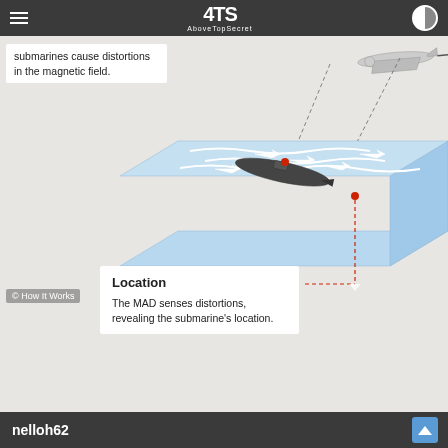4TS AboveTopSecret
submarines cause distortions in the magnetic field.
[Figure (infographic): 3D diagram showing a submarine underwater causing magnetic field distortions, with an aircraft above detecting the location via MAD (Magnetic Anomaly Detection). White arrows show magnetic field lines flowing through water. Red dotted lines indicate vertical position reference. Two red dots mark detection points.]
Location
The MAD senses distortions, revealing the submarine's location.
© How It Works
nelloh62